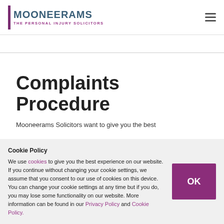MOONEERAMS THE PERSONAL INJURY SOLICITORS
Complaints Procedure
Mooneerams Solicitors want to give you the best
Cookie Policy
We use cookies to give you the best experience on our website. If you continue without changing your cookie settings, we assume that you consent to our use of cookies on this device. You can change your cookie settings at any time but if you do, you may lose some functionality on our website. More information can be found in our Privacy Policy and Cookie Policy.